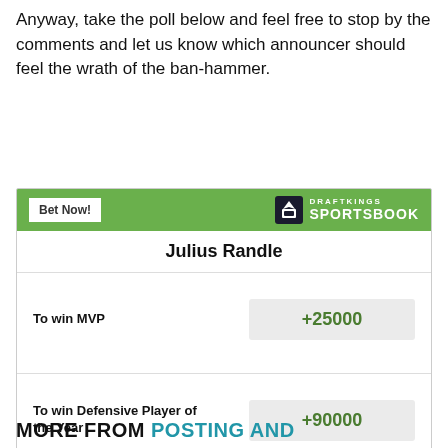Anyway, take the poll below and feel free to stop by the comments and let us know which announcer should feel the wrath of the ban-hammer.
|  |  |
| --- | --- |
| Julius Randle |  |
| To win MVP | +25000 |
| To win Defensive Player of the Year | +90000 |
| Odds/Lines subject to change. See draftkings.com for details. |  |
MORE FROM POSTING AND